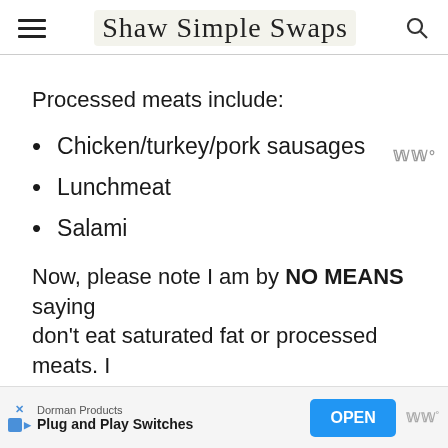Shaw Simple Swaps
Processed meats include:
Chicken/turkey/pork sausages
Lunchmeat
Salami
Now, please note I am by NO MEANS saying don't eat saturated fat or processed meats. I
Dorman Products Plug and Play Switches OPEN